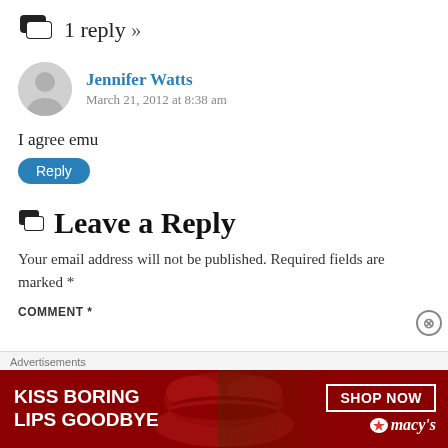1 reply »
Jennifer Watts
March 21, 2012 at 8:38 am
I agree emu
Reply
Leave a Reply
Your email address will not be published. Required fields are marked *
COMMENT *
[Figure (photo): Macy's advertisement banner: 'KISS BORING LIPS GOODBYE' with red lips image and 'SHOP NOW' button and Macy's logo]